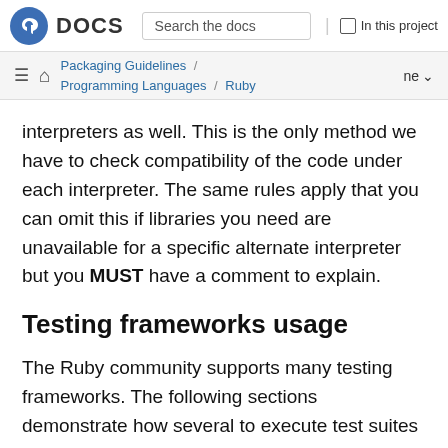Fedora DOCS | Search the docs | In this project
Packaging Guidelines / Programming Languages / Ruby
interpreters as well. This is the only method we have to check compatibility of the code under each interpreter. The same rules apply that you can omit this if libraries you need are unavailable for a specific alternate interpreter but you MUST have a comment to explain.
Testing frameworks usage
The Ruby community supports many testing frameworks. The following sections demonstrate how several to execute test suites using the more common of them.